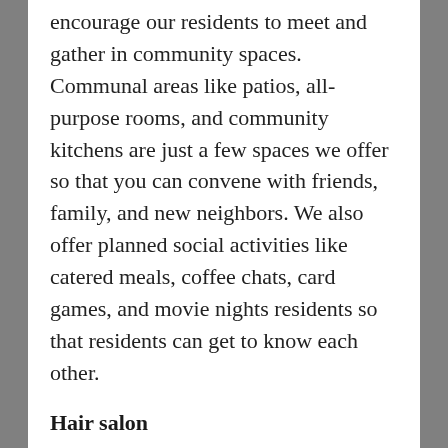encourage our residents to meet and gather in community spaces. Communal areas like patios, all-purpose rooms, and community kitchens are just a few spaces we offer so that you can convene with friends, family, and new neighbors. We also offer planned social activities like catered meals, coffee chats, card games, and movie nights residents so that residents can get to know each other.
Hair salon
If a convenient commute to your hair appointments is important to you, look for retirement homes in Milwaukee, WI with a hair salon on-site. Our on-site salon gives